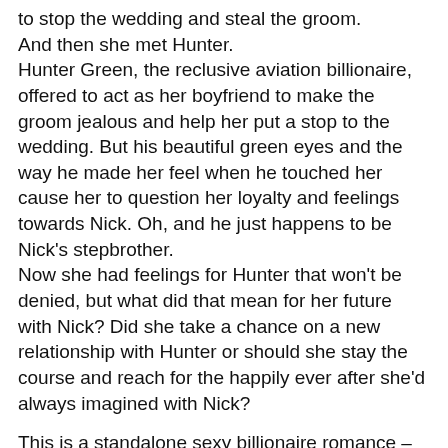to stop the wedding and steal the groom. And then she met Hunter. Hunter Green, the reclusive aviation billionaire, offered to act as her boyfriend to make the groom jealous and help her put a stop to the wedding. But his beautiful green eyes and the way he made her feel when he touched her cause her to question her loyalty and feelings towards Nick. Oh, and he just happens to be Nick's stepbrother. Now she had feelings for Hunter that won't be denied, but what did that mean for her future with Nick? Did she take a chance on a new relationship with Hunter or should she stay the course and reach for the happily ever after she'd always imagined with Nick?
This is a standalone sexy billionaire romance – no cliff-hanger!
*This is a 'Too Hot to Handle' romance on the Emma Lea rating scale – These are definitely 18+ reads and contain graphic sex scenes and high